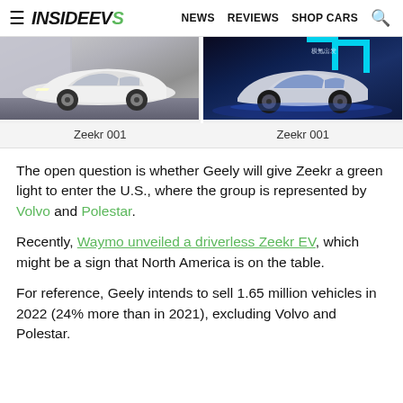INSIDE EVs  NEWS  REVIEWS  SHOP CARS
[Figure (photo): Two side-by-side photos of the Zeekr 001 electric vehicle. Left photo shows white Zeekr 001 in a modern urban setting. Right photo shows silver Zeekr 001 on a dark stage with blue neon lighting and Chinese text.]
Zeekr 001   Zeekr 001
The open question is whether Geely will give Zeekr a green light to enter the U.S., where the group is represented by Volvo and Polestar.
Recently, Waymo unveiled a driverless Zeekr EV, which might be a sign that North America is on the table.
For reference, Geely intends to sell 1.65 million vehicles in 2022 (24% more than in 2021), excluding Volvo and Polestar.